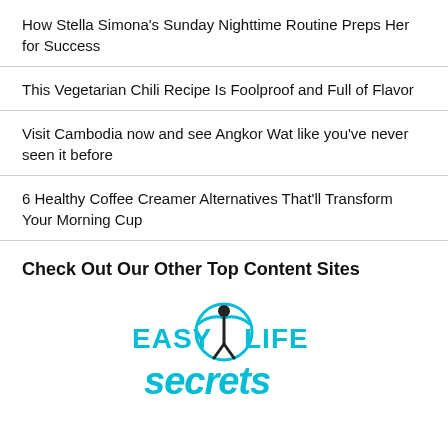How Stella Simona’s Sunday Nighttime Routine Preps Her for Success
This Vegetarian Chili Recipe Is Foolproof and Full of Flavor
Visit Cambodia now and see Angkor Wat like you’ve never seen it before
6 Healthy Coffee Creamer Alternatives That’ll Transform Your Morning Cup
Check Out Our Other Top Content Sites
[Figure (logo): Easy Life Secrets logo with a figure holding arms up inside a circle, text reads EASY LIFE secrets in teal/cyan color]